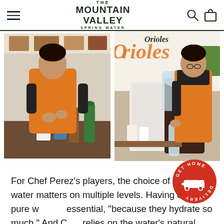THE MOUNTAIN VALLEY SPRING WATER
[Figure (photo): Chef in orange uniform working at a kitchen counter with drinks and bottles]
[Figure (photo): Chef in orange uniform using a water dispenser machine next to an Orioles logo backdrop]
For Chef Perez’s players, the choice of drinking water matters on multiple levels. Having clean, pure water is essential, “because they hydrate so much.” And Chef relies on the water’s natural health benefits in teas, stews,